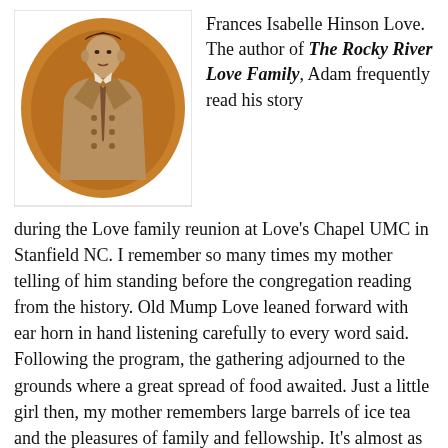[Figure (photo): Oval-framed sepia-toned portrait photograph of a man in a double-breasted suit jacket, set against an orange/brown oval mat with a white rectangular border.]
Frances Isabelle Hinson Love. The author of The Rocky River Love Family, Adam frequently read his story during the Love family reunion at Love's Chapel UMC in Stanfield NC. I remember so many times my mother telling of him standing before the congregation reading from the history. Old Mump Love leaned forward with ear horn in hand listening carefully to every word said. Following the program, the gathering adjourned to the grounds where a great spread of food awaited. Just a little girl then, my mother remembers large barrels of ice tea and the pleasures of family and fellowship. It's almost as